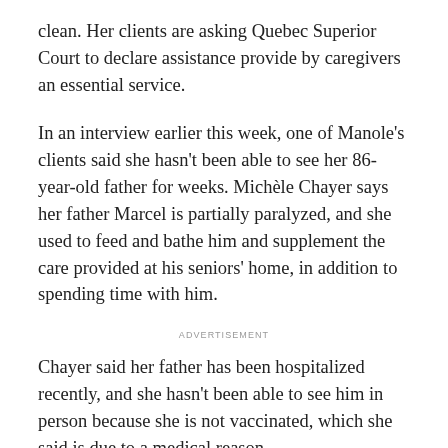clean. Her clients are asking Quebec Superior Court to declare assistance provide by caregivers an essential service.
In an interview earlier this week, one of Manole's clients said she hasn't been able to see her 86-year-old father for weeks. Michèle Chayer says her father Marcel is partially paralyzed, and she used to feed and bathe him and supplement the care provided at his seniors' home, in addition to spending time with him.
ADVERTISEMENT
Chayer said her father has been hospitalized recently, and she hasn't been able to see him in person because she is not vaccinated, which she said is due to a medical reason.